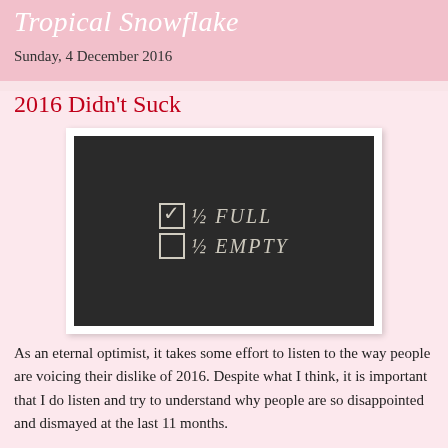Tropical Snowflake
Sunday, 4 December 2016
2016 Didn't Suck
[Figure (photo): A chalkboard with chalk writing showing two checkboxes: one checked labeled '½ FULL' and one unchecked labeled '½ EMPTY']
As an eternal optimist, it takes some effort to listen to the way people are voicing their dislike of 2016. Despite what I think, it is important that I do listen and try to understand why people are so disappointed and dismayed at the last 11 months.
In my short 40 years on this planet, I've seen the world change in